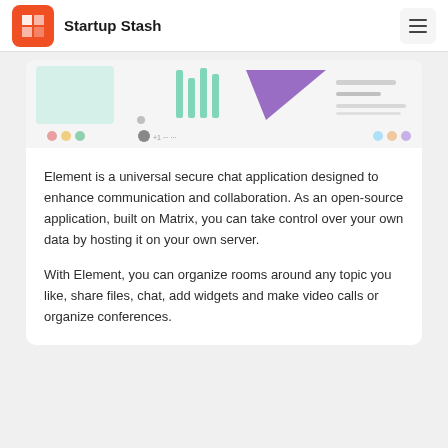Startup Stash
[Figure (screenshot): Screenshot of Element/Matrix application interface showing a UI with teal, purple, and grey design elements, with dots and icons at the bottom]
Element is a universal secure chat application designed to enhance communication and collaboration. As an open-source application, built on Matrix, you can take control over your own data by hosting it on your own server.
With Element, you can organize rooms around any topic you like, share files, chat, add widgets and make video calls or organize conferences.